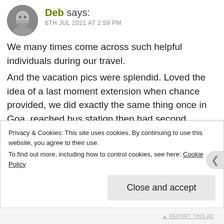[Figure (photo): Circular avatar photo of a person with beard, black and white tones]
Deb says:
6TH JUL 2021 AT 2:59 PM
We many times come across such helpful individuals during our travel.
And the vacation pics were splendid. Loved the idea of a last moment extension when chance provided, we did exactly the same thing once in Goa, reached bus station then had second thoughts, postponed ticket by one day and were back in the hotel 😀
Privacy & Cookies: This site uses cookies. By continuing to use this website, you agree to their use.
To find out more, including how to control cookies, see here: Cookie Policy
Close and accept